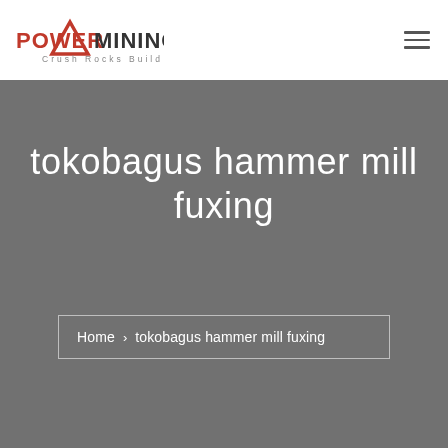[Figure (logo): Power Mining logo with red triangle and text 'POWER MINING' and tagline 'Crush Rocks Build Dreams']
tokobagus hammer mill fuxing
Home › tokobagus hammer mill fuxing